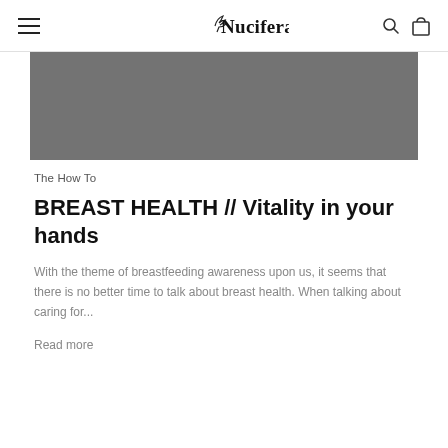Nucifera
[Figure (photo): Gray rectangular hero image placeholder for a blog article about breast health]
The How To
BREAST HEALTH // Vitality in your hands
With the theme of breastfeeding awareness upon us, it seems that there is no better time to talk about breast health. When talking about caring for...
Read more